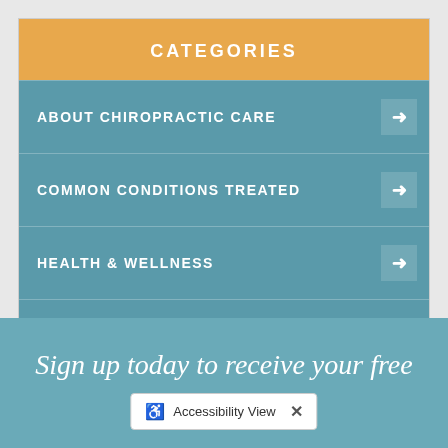CATEGORIES
ABOUT CHIROPRACTIC CARE
COMMON CONDITIONS TREATED
HEALTH & WELLNESS
THERAPIES & TECHNIQUES
NEWSLETTER LIBRARY
WELLNESS4KIDS
Sign up today to receive your free consultation
Accessibility View ×